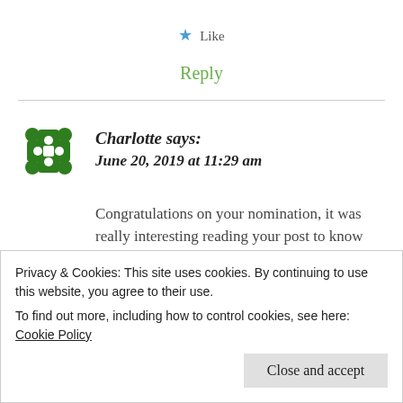★ Like
Reply
Charlotte says:
June 20, 2019 at 11:29 am
Congratulations on your nomination, it was really interesting reading your post to know more
Privacy & Cookies: This site uses cookies. By continuing to use this website, you agree to their use.
To find out more, including how to control cookies, see here: Cookie Policy
Close and accept